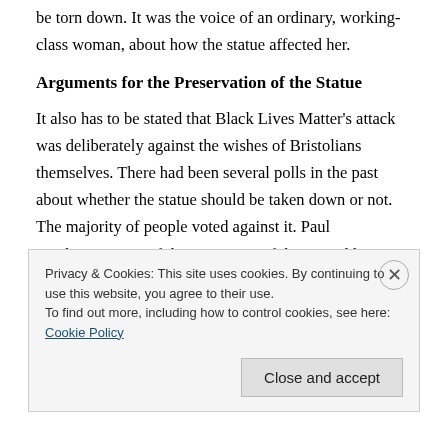be torn down. It was the voice of an ordinary, working-class woman, about how the statue affected her.
Arguments for the Preservation of the Statue
It also has to be stated that Black Lives Matter's attack was deliberately against the wishes of Bristolians themselves. There had been several polls in the past about whether the statue should be taken down or not. The majority of people voted against it. Paul Stephenson, one of the organisers of the Bristol bus boycott in the 1960s against the bus company's refusal to employ
Privacy & Cookies: This site uses cookies. By continuing to use this website, you agree to their use.
To find out more, including how to control cookies, see here: Cookie Policy
Close and accept